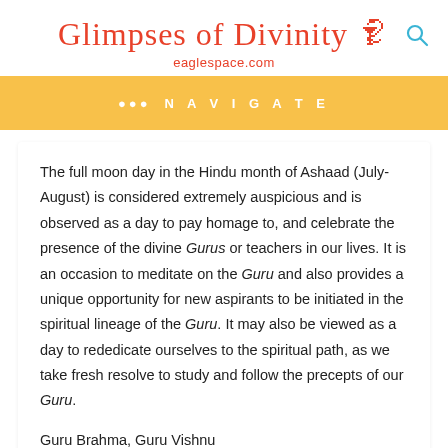Glimpses of Divinity ॐ eaglespace.com
••• NAVIGATE
The full moon day in the Hindu month of Ashaad (July-August) is considered extremely auspicious and is observed as a day to pay homage to, and celebrate the presence of the divine Gurus or teachers in our lives. It is an occasion to meditate on the Guru and also provides a unique opportunity for new aspirants to be initiated in the spiritual lineage of the Guru. It may also be viewed as a day to rededicate ourselves to the spiritual path, as we take fresh resolve to study and follow the precepts of our Guru.
Guru Brahma, Guru Vishnu